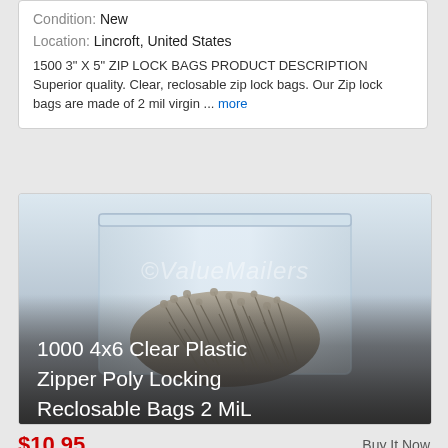Free Shipping
Condition: New
Location: Lincroft, United States
1500 3" X 5" ZIP LOCK BAGS PRODUCT DESCRIPTION Superior quality. Clear, reclosable zip lock bags. Our Zip lock bags are made of 2 mil virgin ... more
[Figure (photo): Clear plastic zipper reclosable poly bag filled with nails/screws, with watermark ©ValueMailers, and overlay text '1000 4x6 Clear Plastic Zipper Poly Locking Reclosable Bags 2 MiL']
Buy It Now